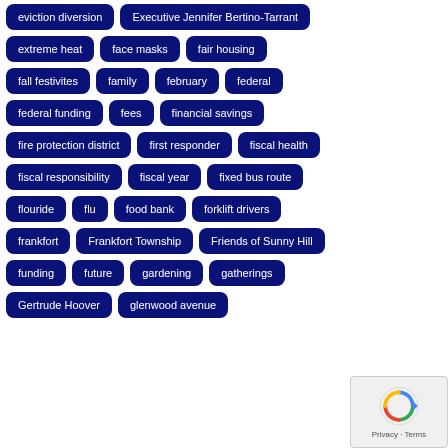eviction diversion
Executive Jennifer Bertino-Tarrant
extreme heat
face masks
fair housing
fall festivites
family
february
federal
federal funding
fees
financial savings
fire protection district
first responder
fiscal health
fiscal responsibility
fiscal year
fixed bus route
flouride
flu
food bank
forklift drivers
frankfort
Frankfort Township
Friends of Sunny Hill
funding
future
gardening
gatherings
Gertrude Hoover
glenwood avenue